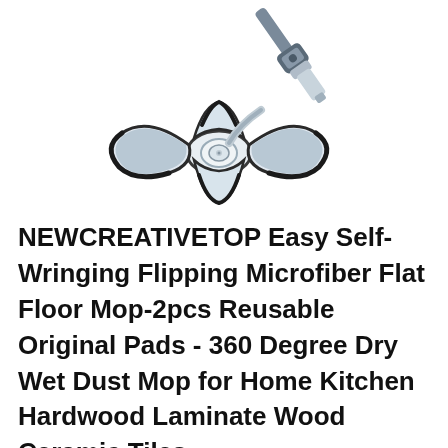[Figure (photo): A flat floor mop head with butterfly-shaped microfiber pad, white and gray plastic frame with a handle attachment joint visible at top. Mop head shown at an angle from above.]
NEWCREATIVETOP Easy Self-Wringing Flipping Microfiber Flat Floor Mop-2pcs Reusable Original Pads - 360 Degree Dry Wet Dust Mop for Home Kitchen Hardwood Laminate Wood Ceramic Tiles